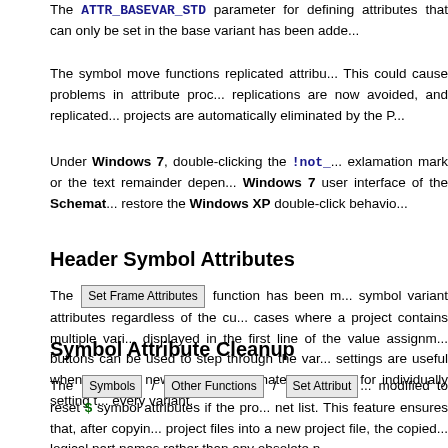The ATTR_BASEVAR_STD parameter for defining attributes that can only be set in the base variant has been added.
The symbol move functions replicated attributes during move operations. This could cause problems in attribute processing. Unnecessary replications are now avoided, and replicated attributes from old projects are automatically eliminated by the Pa...
Under Windows 7, double-clicking the !not_ exlamation mark or the text remainder depends on the Windows 7 user interface of the Schematic... restore the Windows XP double-click behavior...
Header Symbol Attributes
The Set Frame Attributes function has been modified to set symbol variant attributes regardless of the current variant. In cases where a project contains multiple variants, the current variant is displayed in the first line of the value assignment dialog. The buttons can be used to step through the variants. These settings are useful when inserting new schematics sheets, and eliminates the need for individually setting the attributes for every variant.
Symbol Attribute Cleanup
The Symbols / Other Functions / Set Attribute... modified to reset $ symbol attributes if the project contains a net list. This feature ensures that, after copying individual project files into a new project file, the copied... logical part names rather than any obsolete...